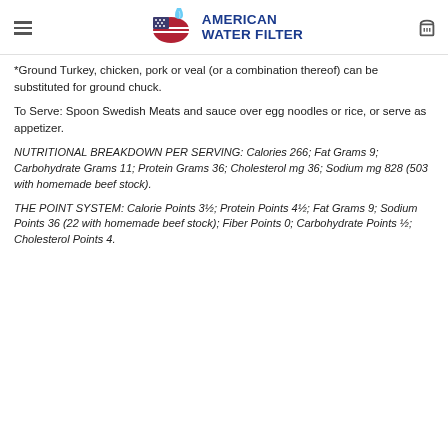AMERICAN WATER FILTER
*Ground Turkey, chicken, pork or veal (or a combination thereof) can be substituted for ground chuck.
To Serve: Spoon Swedish Meats and sauce over egg noodles or rice, or serve as appetizer.
NUTRITIONAL BREAKDOWN PER SERVING: Calories 266; Fat Grams 9; Carbohydrate Grams 11; Protein Grams 36; Cholesterol mg 36; Sodium mg 828 (503 with homemade beef stock).
THE POINT SYSTEM: Calorie Points 3½; Protein Points 4½; Fat Grams 9; Sodium Points 36 (22 with homemade beef stock); Fiber Points 0; Carbohydrate Points ½; Cholesterol Points 4.